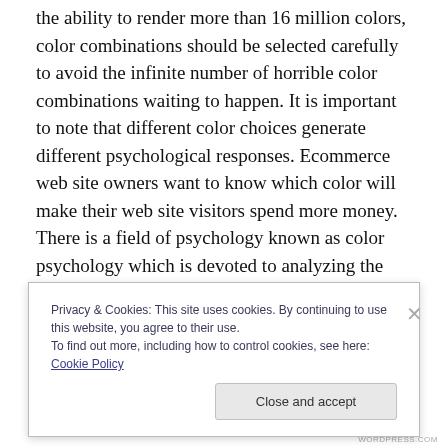the ability to render more than 16 million colors, color combinations should be selected carefully to avoid the infinite number of horrible color combinations waiting to happen. It is important to note that different color choices generate different psychological responses. Ecommerce web site owners want to know which color will make their web site visitors spend more money. There is a field of psychology known as color psychology which is devoted to analyzing the emotional and behavioral effects produced by colors and color combinations. While selecting color, it is important to know whether you need
Privacy & Cookies: This site uses cookies. By continuing to use this website, you agree to their use.
To find out more, including how to control cookies, see here: Cookie Policy
Close and accept